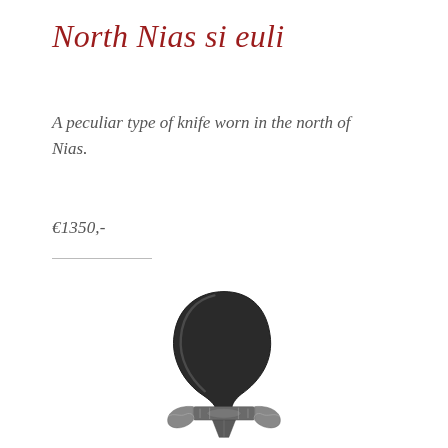North Nias si euli
A peculiar type of knife worn in the north of Nias.
€1350,-
[Figure (photo): Photograph of a North Nias si euli knife showing a curved dark handle and ornate metal guard/crossguard with decorative engraving]